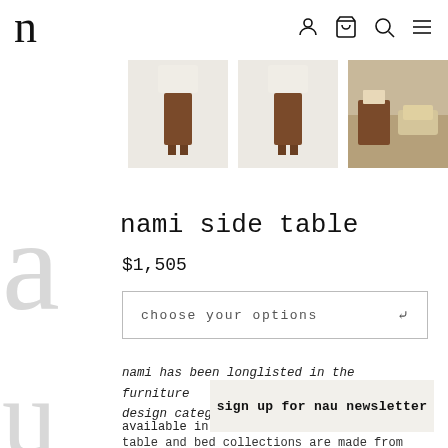n
[Figure (photo): Three thumbnail images of the nami side table: two front-view shots showing a cylindrical lamp-like wooden form, and one showing the table with cushions in a room setting.]
nami side table
$1,505
choose your options
nami has been longlisted in the furniture design category of dezeen awards 2022.
available in a
table and bed collections are made from
sign up for nau newsletter